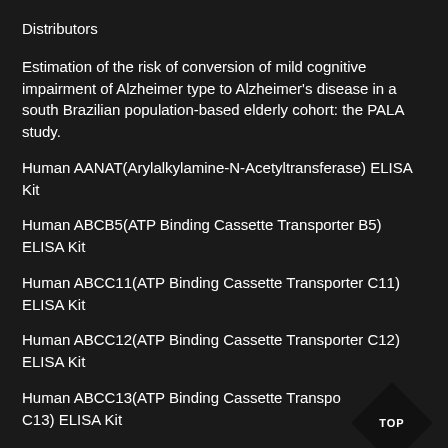Distributors
Estimation of the risk of conversion of mild cognitive impairment of Alzheimer type to Alzheimer's disease in a south Brazilian population-based elderly cohort: the PALA study.
Human AANAT(Arylalkylamine-N-Acetyltransferase) ELISA Kit
Human ABCB5(ATP Binding Cassette Transporter B5) ELISA Kit
Human ABCC11(ATP Binding Cassette Transporter C11) ELISA Kit
Human ABCC12(ATP Binding Cassette Transporter C12) ELISA Kit
Human ABCC13(ATP Binding Cassette Transporter C13) ELISA Kit
Human ABCC2(ATP Binding Cassette Transporter